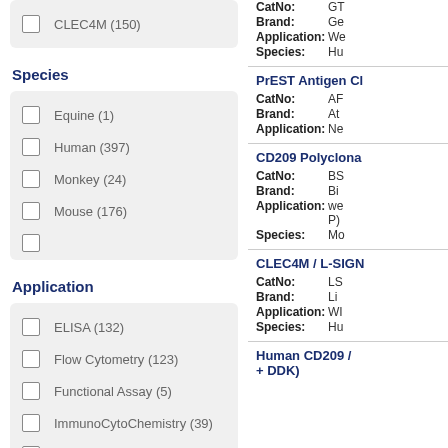CLEC4M (150)
Species
Equine (1)
Human (397)
Monkey (24)
Mouse (176)
Application
ELISA (132)
Flow Cytometry (123)
Functional Assay (5)
ImmunoCytoChemistry (39)
CatNo: GT
Brand: Ge
Application: We
Species: Hu
PrEST Antigen Cl
CatNo: AF
Brand: At
Application: Ne
CD209 Polyclona
CatNo: BS
Brand: Bi
Application: we P)
Species: Mo
CLEC4M / L-SIGN
CatNo: LS
Brand: Li
Application: WI
Species: Hu
Human CD209 / + DDK)